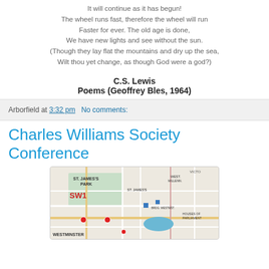It will continue as it has begun!
The wheel runs fast, therefore the wheel will run
Faster for ever. The old age is done,
We have new lights and see without the sun.
(Though they lay flat the mountains and dry up the sea,
Wilt thou yet change, as though God were a god?)
C.S. Lewis
Poems (Geoffrey Bles, 1964)
Arborfield at 3:32 pm   No comments:
Charles Williams Society Conference
[Figure (map): Street map showing SW1 Westminster area of London, including St. James's Park, Westminster, Houses of Parliament, Victoria area, with colored roads and landmarks.]